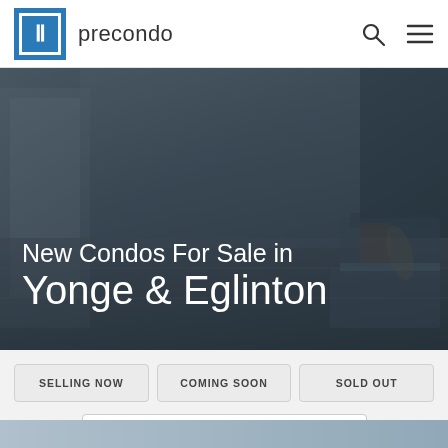precondo
[Figure (photo): Hero background photo of a modern condo interior with hardwood floors, large windows, and contemporary furniture, darkened with overlay. Text overlay reads 'New Condos For Sale in Yonge & Eglinton']
New Condos For Sale in Yonge & Eglinton
SELLING NOW
COMING SOON
SOLD OUT
Select an Area